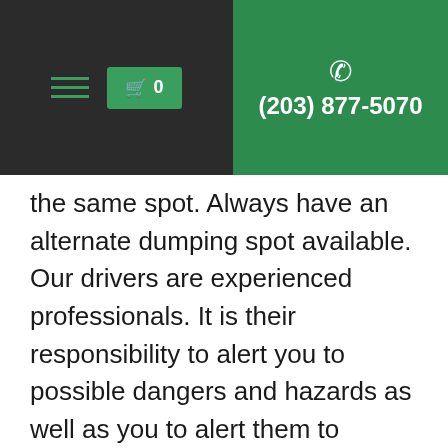(203) 877-5070
the same spot. Always have an alternate dumping spot available. Our drivers are experienced professionals. It is their responsibility to alert you to possible dangers and hazards as well as you to alert them to obstacles, sink holes, septics and such. Be aware of tree limbs, overhead wires and roof overhangs. During wet weather a dump truck can crack the edge of a driveway. It is our drivers final decision